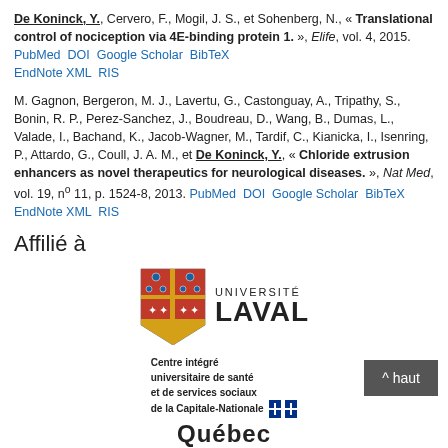De Koninck, Y., Cervero, F., Mogil, J. S., et Sohenberg, N., « Translational control of nociception via 4E-binding protein 1. », Elife, vol. 4, 2015. PubMed DOI Google Scholar BibTeX EndNote XML RIS
M. Gagnon, Bergeron, M. J., Lavertu, G., Castonguay, A., Tripathy, S., Bonin, R. P., Perez-Sanchez, J., Boudreau, D., Wang, B., Dumas, L., Valade, I., Bachand, K., Jacob-Wagner, M., Tardif, C., Kianicka, I., Isenring, P., Attardo, G., Coull, J. A. M., et De Koninck, Y., « Chloride extrusion enhancers as novel therapeutics for neurological diseases. », Nat Med, vol. 19, no 11, p. 1524-8, 2013. PubMed DOI Google Scholar BibTeX EndNote XML RIS
Affilié à
[Figure (logo): Université Laval logo with coat of arms shield in red/yellow and text UNIVERSITÉ LAVAL]
[Figure (logo): Centre intégré universitaire de santé et de services sociaux de la Capitale-Nationale / Québec logo]